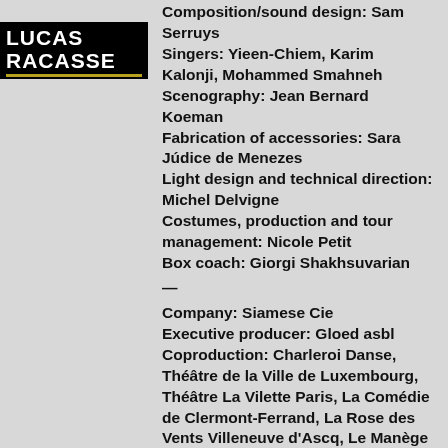LUCAS RACASSE
Composition/sound design: Sam Serruys
Singers: Yieen-Chiem, Karim Kalonji, Mohammed Smahneh
Scenography: Jean Bernard Koeman
Fabrication of accessories: Sara Júdice de Menezes
Light design and technical direction: Michel Delvigne
Costumes, production and tour management: Nicole Petit
Box coach: Giorgi Shakhsuvarian
—
Company: Siamese Cie
Executive producer: Gloed asbl
Coproduction: Charleroi Danse, Théâtre de la Ville de Luxembourg, Théâtre La Vilette Paris, La Comédie de Clermont-Ferrand, La Rose des Vents Villeneuve d'Ascq, Le Manège
Maubeuge, Victoria de Lux Gent, Torino Danza, Kunstencentrum Vooruit, De Grote Post Oostende, A.M. Qattan Foundation, Action Zoo Humain